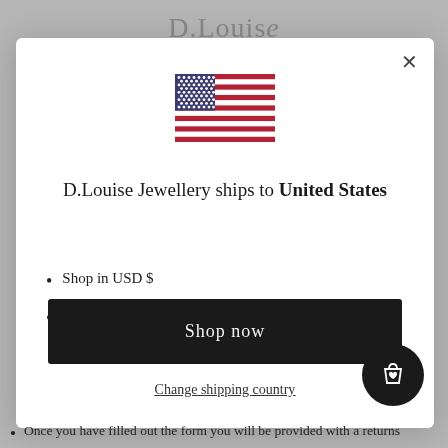D.Louise
[Figure (illustration): US flag SVG illustration centered in modal]
D.Louise Jewellery ships to United States
Shop in USD $
Get shipping options for United States
Shop now
Change shipping country
Once you have filled out the form you will be provided with a returns